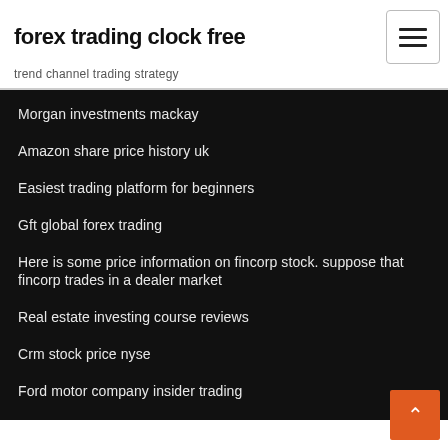forex trading clock free
trend channel trading strategy
Morgan investments mackay
Amazon share price history uk
Easiest trading platform for beginners
Gft global forex trading
Here is some price information on fincorp stock. suppose that fincorp trades in a dealer market
Real estate investing course reviews
Crm stock price nyse
Ford motor company insider trading
New york reit stock price